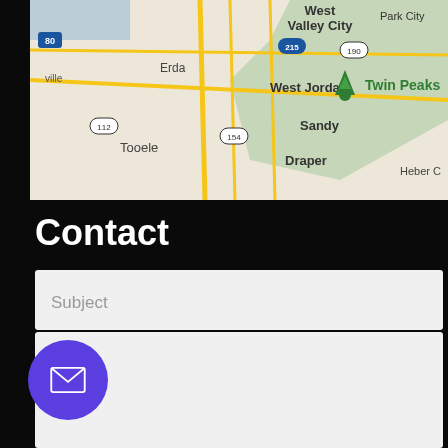[Figure (map): Google Maps screenshot showing Salt Lake City area including West Valley City, West Jordan, Sandy, Draper, Erda, Tooele, Twin Peaks marker, Park City, with highway labels 80, 215, 190, 154, 112]
Contact
Name
Email
Phone No.
Subject
[Figure (other): Purple circular button with white envelope/mail icon]